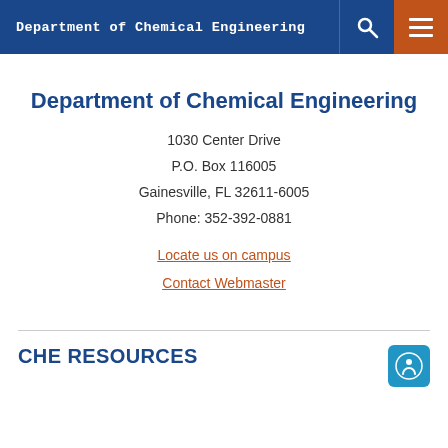Department of Chemical Engineering
Department of Chemical Engineering
1030 Center Drive
P.O. Box 116005
Gainesville, FL 32611-6005
Phone: 352-392-0881
Locate us on campus
Contact Webmaster
CHE RESOURCES